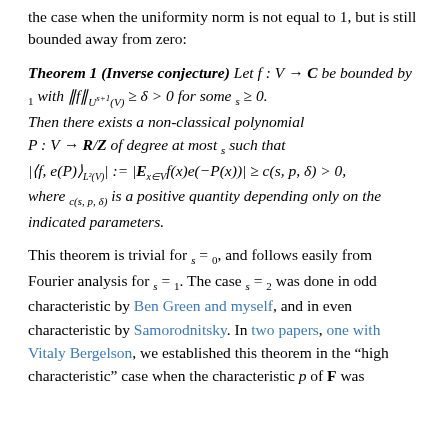the case when the uniformity norm is not equal to 1, but is still bounded away from zero:
This theorem is trivial for s = 0, and follows easily from Fourier analysis for s = 1. The case s = 2 was done in odd characteristic by Ben Green and myself, and in even characteristic by Samorodnitsky. In two papers, one with Vitaly Bergelson, we established this theorem in the "high characteristic" case when the characteristic p of F was